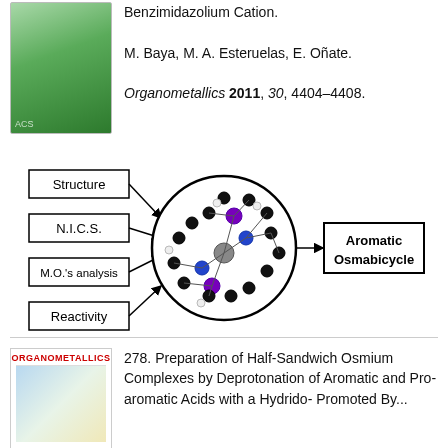Benzimidazolium Cation. M. Baya, M. A. Esteruelas, E. Oñate. Organometallics 2011, 30, 4404–4408.
[Figure (schematic): Diagram showing boxes labeled Structure, N.I.C.S., M.O.'s analysis, Reactivity with arrows pointing to a circular molecular structure, and then an arrow pointing to a box labeled Aromatic Osmabicycle.]
278. Preparation of Half-Sandwich Osmium Complexes by Deprotonation of Aromatic and Pro-aromatic Acids with a Hydrido- Promoted By...